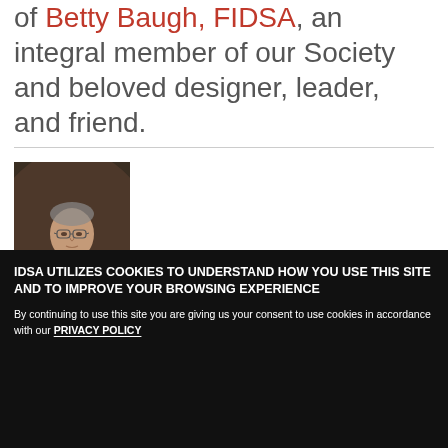of Betty Baugh, FIDSA, an integral member of our Society and beloved designer, leader, and friend.
[Figure (photo): Portrait photo of an elderly man seated, wearing glasses and dark jacket, hands clasped, against a dark brown background.]
IDSA UTILIZES COOKIES TO UNDERSTAND HOW YOU USE THIS SITE AND TO IMPROVE YOUR BROWSING EXPERIENCE
By continuing to use this site you are giving us your consent to use cookies in accordance with our PRIVACY POLICY